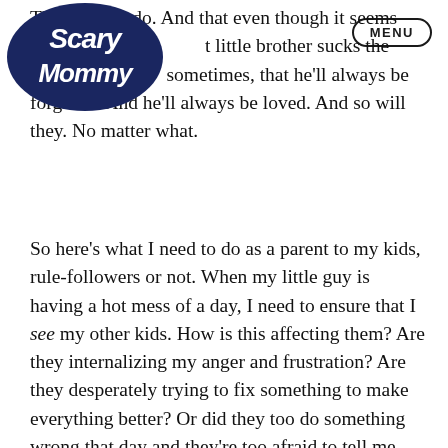[Figure (logo): Scary Mommy logo — dark navy blue bubble-style font in a circular emblem]
MENU
That all kids do. And that even though it seems t little brother sucks the sometimes, that he'll always be forgiven. And he'll always be loved. And so will they. No matter what.
So here's what I need to do as a parent to my kids, rule-followers or not. When my little guy is having a hot mess of a day, I need to ensure that I see my other kids. How is this affecting them? Are they internalizing my anger and frustration? Are they desperately trying to fix something to make everything better? Or did they too do something wrong that day and they're too afraid to tell me now?